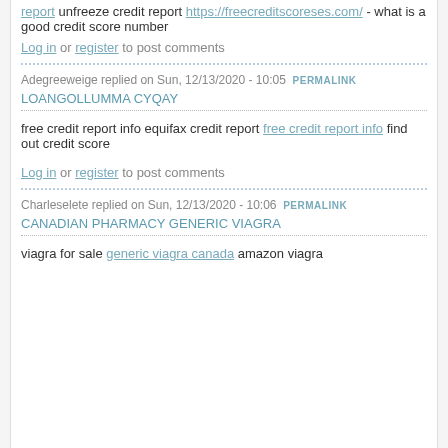report unfreeze credit report https://freecreditscoreses.com/ - what is a good credit score number
Log in or register to post comments
Adegreeweige replied on Sun, 12/13/2020 - 10:05 PERMALINK
LOANGOLLUMMA CYQAY
free credit report info equifax credit report free credit report info find out credit score
Log in or register to post comments
Charleselete replied on Sun, 12/13/2020 - 10:06 PERMALINK
CANADIAN PHARMACY GENERIC VIAGRA
viagra for sale generic viagra canada amazon viagra